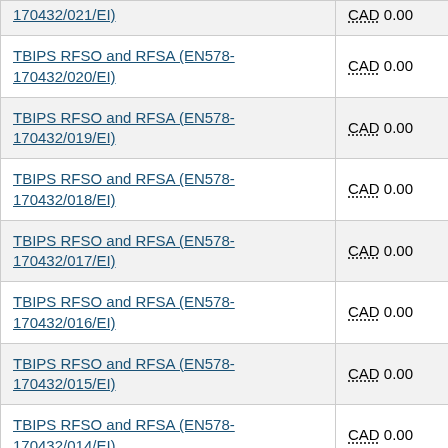| Contract/Amendment | Amount |
| --- | --- |
| TBIPS RFSO and RFSA (EN578-170432/021/EI) | CAD 0.00 |
| TBIPS RFSO and RFSA (EN578-170432/020/EI) | CAD 0.00 |
| TBIPS RFSO and RFSA (EN578-170432/019/EI) | CAD 0.00 |
| TBIPS RFSO and RFSA (EN578-170432/018/EI) | CAD 0.00 |
| TBIPS RFSO and RFSA (EN578-170432/017/EI) | CAD 0.00 |
| TBIPS RFSO and RFSA (EN578-170432/016/EI) | CAD 0.00 |
| TBIPS RFSO and RFSA (EN578-170432/015/EI) | CAD 0.00 |
| TBIPS RFSO and RFSA (EN578-170432/014/EI) | CAD 0.00 |
| TBIPS RFSO and RFSA (EN578-170432/013/EI) | CAD 0.00 |
| TBIPS RFSO and RFSA (EN578-170432/...) | CAD 0.00 |